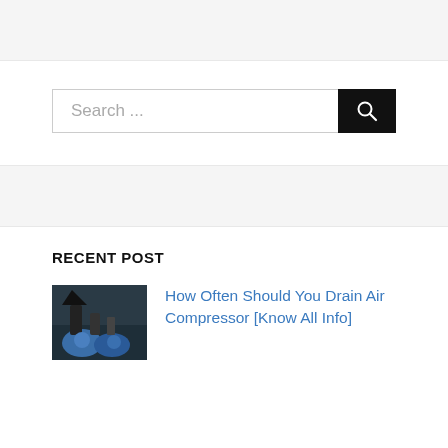[Figure (screenshot): Gray top navigation/header bar]
Search ...
RECENT POST
[Figure (photo): Photo of air compressor equipment with blue tanks in a workshop]
How Often Should You Drain Air Compressor [Know All Info]